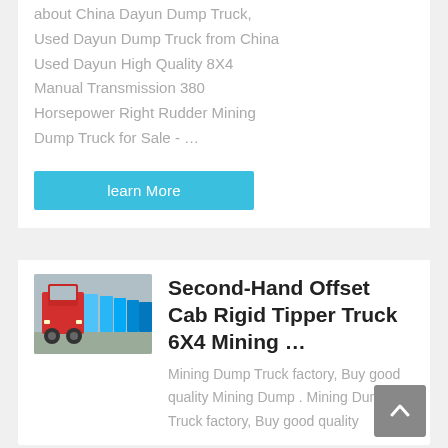about China Dayun Dump Truck, Used Dayun Dump Truck from China Used Dayun High Quality 8X4 Manual Transmission 380 Horsepower Right Rudder Mining Dump Truck for Sale - …
learn More
[Figure (photo): Red dump truck / tipper truck parked in front of rows of blue trucks in a lot]
Second-Hand Offset Cab Rigid Tipper Truck 6X4 Mining …
Mining Dump Truck factory, Buy good quality Mining Dump . Mining Dump Truck factory, Buy good quality